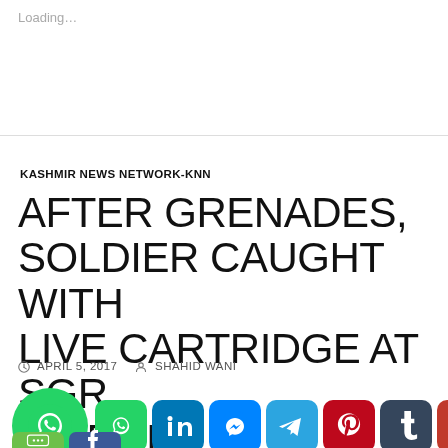Loading...
KASHMIR NEWS NETWORK-KNN
AFTER GRENADES, SOLDIER CAUGHT WITH LIVE CARTRIDGE AT SGR AIRPORT
APRIL 5, 2017   SHAHID WANI
[Figure (screenshot): Social media sharing icons: WhatsApp (large round), WhatsApp, LinkedIn, Messenger, Telegram, Pinterest, Tumblr, Gmail, WordPress, and partial second row with SMS and Facebook icons]